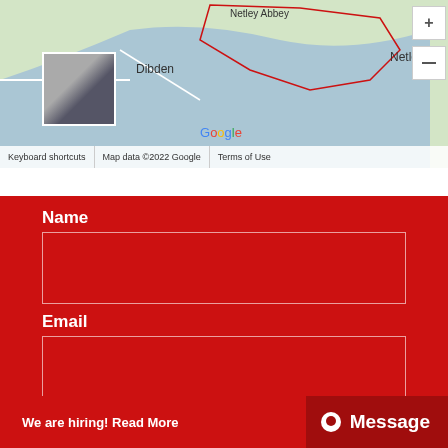[Figure (map): Google Maps screenshot showing Netley Abbey, Dibden, and surrounding area with blue water/river, red outlined region, map thumbnail, and zoom controls. Footer bar shows: Keyboard shortcuts | Map data ©2022 Google | Terms of Use]
Name
Email
Phone (partial, cut off)
We are hiring! Read More
Message